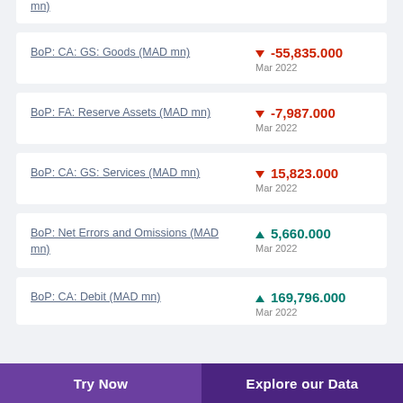mn)
BoP: CA: GS: Goods (MAD mn)
BoP: FA: Reserve Assets (MAD mn)
BoP: CA: GS: Services (MAD mn)
BoP: Net Errors and Omissions (MAD mn)
BoP: CA: Debit (MAD mn)
Try Now | Explore our Data